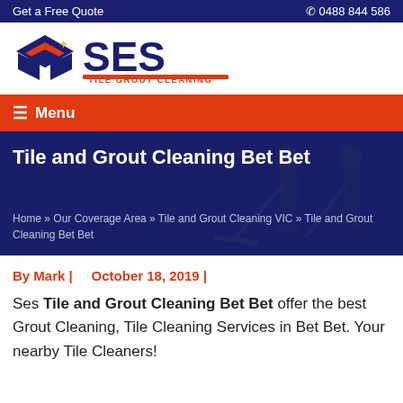Get a Free Quote   ☎ 0488 844 586
[Figure (logo): SES Tile Grout Cleaning logo with diamond/rhombus shapes in navy and orange, large SES text in navy, subtitle TILE GROUT CLEANING in orange]
☰ Menu
Tile and Grout Cleaning Bet Bet
Home » Our Coverage Area » Tile and Grout Cleaning VIC » Tile and Grout Cleaning Bet Bet
By Mark |   October 18, 2019 |
Ses Tile and Grout Cleaning Bet Bet offer the best Grout Cleaning, Tile Cleaning Services in Bet Bet. Your nearby Tile Cleaners!